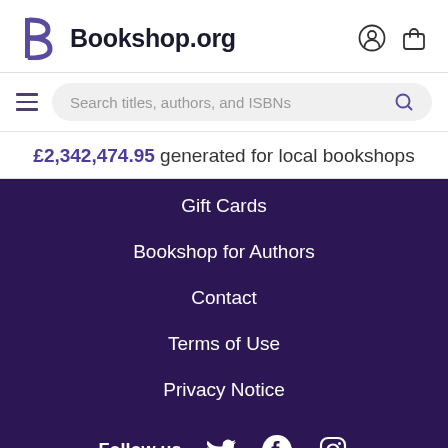Bookshop.org
Search titles, authors, and ISBNs
£2,342,474.95 generated for local bookshops
Gift Cards
Bookshop for Authors
Contact
Terms of Use
Privacy Notice
Follow us